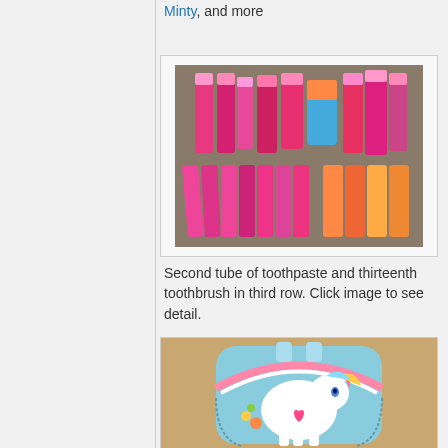Minty, and more
[Figure (photo): Collection of My Little Pony toothbrushes and toothpaste tubes arranged on a surface, showing multiple pink packaged items in rows]
Second tube of toothpaste and thirteenth toothbrush in third row. Click image to see detail.
[Figure (photo): My Little Pony themed children's backpack featuring a white pony character with colorful hair on a blue/teal background]